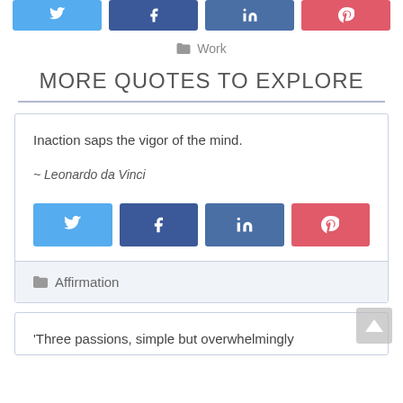[Figure (other): Row of four social share buttons at top: Twitter (blue), Facebook (dark blue), LinkedIn (slate blue), Pinterest (red/pink)]
Work
MORE QUOTES TO EXPLORE
Inaction saps the vigor of the mind.
~ Leonardo da Vinci
[Figure (other): Row of four social share buttons: Twitter (blue), Facebook (dark blue), LinkedIn (slate blue), Pinterest (red/pink)]
Affirmation
'Three passions, simple but overwhelmingly